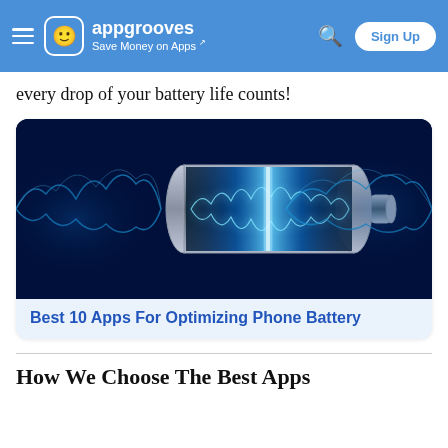appgrooves — Save Money on Apps
every drop of your battery life counts!
[Figure (illustration): Glowing blue battery with energy wave visualization on dark blue background]
Best 10 Apps For Optimizing Phone Battery
How We Choose The Best Apps